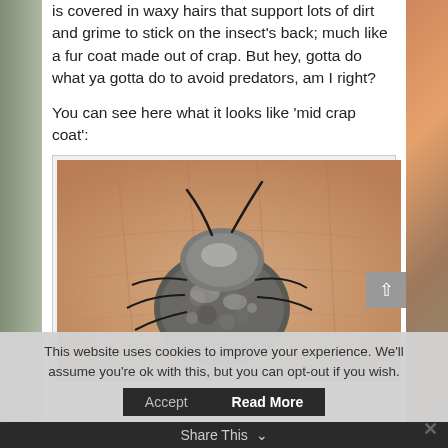is covered in waxy hairs that support lots of dirt and grime to stick on the insect's back; much like a fur coat made out of crap. But hey, gotta do what ya gotta do to avoid predators, am I right?
You can see here what it looks like 'mid crap coat':
[Figure (photo): A hand holding a small insect covered in a thick grey coating of dirt/debris, showing the 'mid crap coat' appearance described in the text.]
This website uses cookies to improve your experience. We'll assume you're ok with this, but you can opt-out if you wish.
Accept  Read More  Share This ×